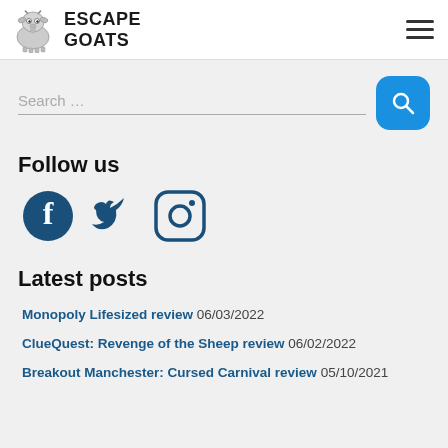ESCAPE GOATS
Search ...
Follow us
[Figure (illustration): Social media icons: Facebook, Twitter, Instagram]
Latest posts
Monopoly Lifesized review 06/03/2022
ClueQuest: Revenge of the Sheep review 06/02/2022
Breakout Manchester: Cursed Carnival review 05/10/2021